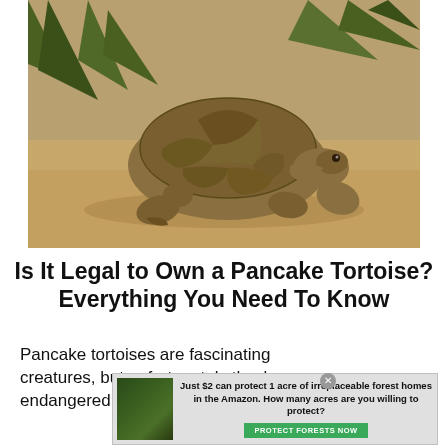[Figure (photo): A small tortoise with a domed, patterned brown shell walking on sandy ground with spiky green plants in the background.]
Is It Legal to Own a Pancake Tortoise? Everything You Need To Know
Pancake tortoises are fascinating creatures, but unfortunately they're endangered. The International
[Figure (infographic): Advertisement overlay: 'Just $2 can protect 1 acre of irreplaceable forest homes in the Amazon. How many acres are you willing to protect?' with a green 'PROTECT FORESTS NOW' button and a rainforest image.]